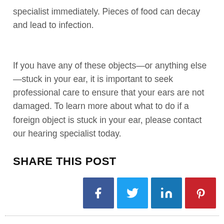specialist immediately. Pieces of food can decay and lead to infection.
If you have any of these objects—or anything else—stuck in your ear, it is important to seek professional care to ensure that your ears are not damaged. To learn more about what to do if a foreign object is stuck in your ear, please contact our hearing specialist today.
SHARE THIS POST
[Figure (infographic): Four social media share buttons: Facebook (dark blue), Twitter (light blue), LinkedIn (teal blue), Pinterest (red), each with the respective platform icon in white.]